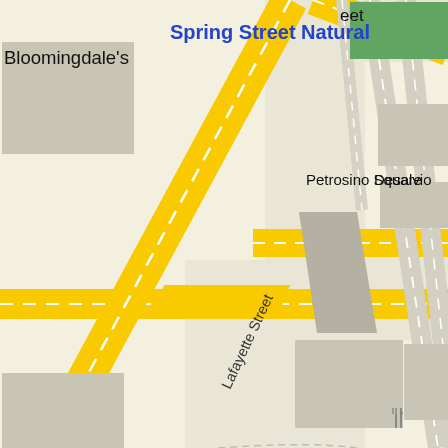[Figure (map): Street map of lower Manhattan showing Lafayette Street, Centre Street, Centre Market Place, Spring Street Natural, Petrosino Square, Desalvio, Bloomingdale's, Brinkley's, Toby's Public House, Most Holy Crucifix Church, and Wikipedia markers. Major roads shown in yellow (Lafayette Street diagonal), with intersecting streets and gray building footprints.]